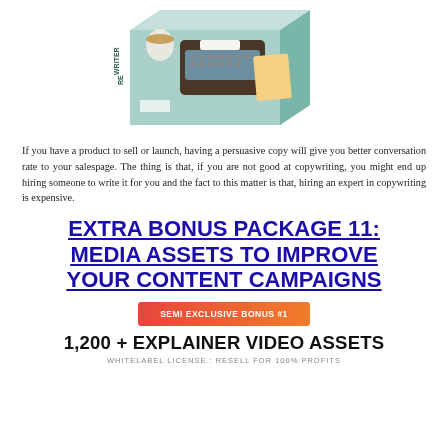[Figure (illustration): Product box illustration showing a copywriter software box with typewriter and office items on a teal/mint colored box]
If you have a product to sell or launch, having a persuasive copy will give you better conversation rate to your salespage. The thing is that, if you are not good at copywriting, you might end up hiring someone to write it for you and the fact to this matter is that, hiring an expert in copywriting is expensive.
EXTRA BONUS PACKAGE 11: MEDIA ASSETS TO IMPROVE YOUR CONTENT CAMPAIGNS
SEMI EXCLUSIVE BONUS #1
1,200 + EXPLAINER VIDEO ASSETS
WHITELABEL LICENSE : RESELL FOR 100% PROFITS